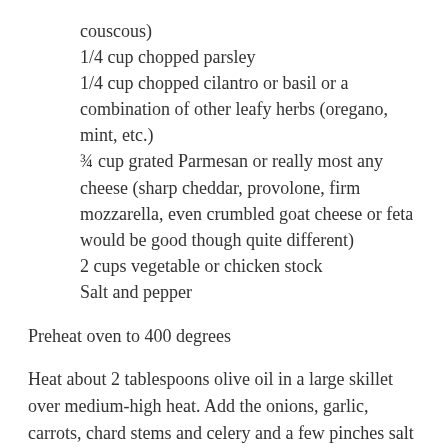couscous)
1/4 cup chopped parsley
1/4 cup chopped cilantro or basil or a combination of other leafy herbs (oregano, mint, etc.)
¾ cup grated Parmesan or really most any cheese (sharp cheddar, provolone, firm mozzarella, even crumbled goat cheese or feta would be good though quite different)
2 cups vegetable or chicken stock
Salt and pepper
Preheat oven to 400 degrees
Heat about 2 tablespoons olive oil in a large skillet over medium-high heat. Add the onions, garlic, carrots, chard stems and celery and a few pinches salt and saute for 7 or so minutes, stirring often, until the vegetables have softened. Add the chard leaves and stir well and cook for